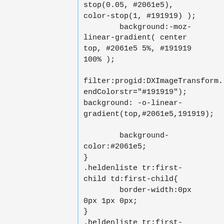stop(0.05, #2061e5),
color-stop(1, #191919) );
        background:-moz-linear-gradient( center top, #2061e5 5%, #191919 100% );

filter:progid:DXImageTransform.endColorstr="#191919");
background: -o-linear-gradient(top,#2061e5,191919);

        background-color:#2061e5;
}
.heldenliste tr:first-child td:first-child{
        border-width:0px 0px 1px 0px;
}
.heldenliste tr:first-child td:last-child{
        border-width:0px 0px 1px 1px;
}